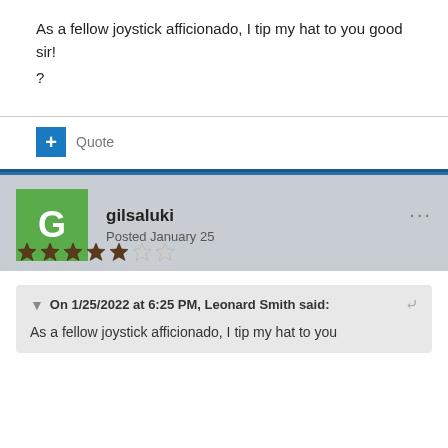As a fellow joystick afficionado, I tip my hat to you good sir!
?
Quote
gilsaluki
Posted January 25
On 1/25/2022 at 6:25 PM, Leonard Smith said:
As a fellow joystick afficionado, I tip my hat to you